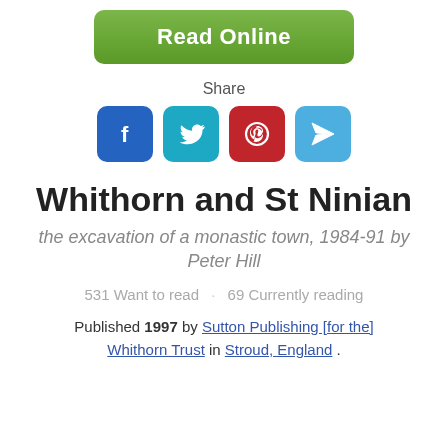[Figure (other): Green 'Read Online' button]
Share
[Figure (other): Social sharing icons: Facebook, Twitter, Pinterest, Share/Telegram]
Whithorn and St Ninian
the excavation of a monastic town, 1984-91 by Peter Hill
531 Want to read · 69 Currently reading
Published 1997 by Sutton Publishing [for the] Whithorn Trust in Stroud, England .